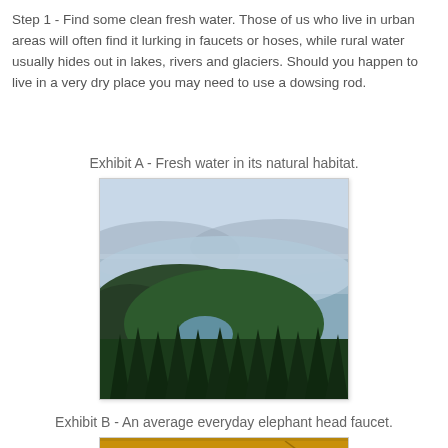Step 1 - Find some clean fresh water. Those of us who live in urban areas will often find it lurking in faucets or hoses, while rural water usually hides out in lakes, rivers and glaciers. Should you happen to live in a very dry place you may need to use a dowsing rod.
Exhibit A - Fresh water in its natural habitat.
[Figure (photo): Aerial or elevated view of a forested landscape with two lakes - a large lake in the background surrounded by mountains and haze, and a smaller lake nestled among dense evergreen forest in the foreground.]
Exhibit B - An average everyday elephant head faucet.
[Figure (photo): Partial view of what appears to be an ornate faucet, with warm golden/orange tones, partially cut off at the bottom of the page.]